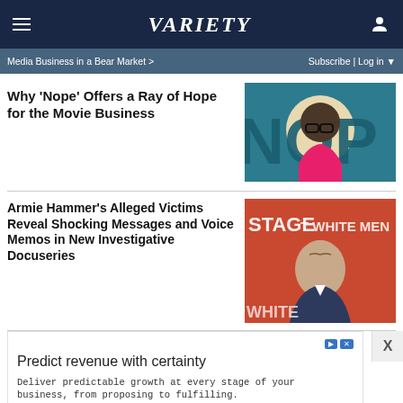VARIETY
Media Business in a Bear Market >
Subscribe | Log in
Why ‘Nope’ Offers a Ray of Hope for the Movie Business
[Figure (photo): Movie poster or promotional image for 'Nope' showing a person with glasses on a teal background with large text 'NOP']
Armie Hammer’s Alleged Victims Reveal Shocking Messages and Voice Memos in New Investigative Docuseries
[Figure (photo): Photo of Armie Hammer at a stage event with orange/red background and text 'STAGE' and 'WHITE MEN']
Predict revenue with certainty
Deliver predictable growth at every stage of your business, from proposing to fulfilling.
Conga
Open